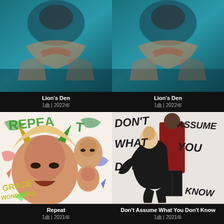[Figure (photo): Lion's Den album artwork - woman's hand and face underwater with teal/blue tones]
Lion's Den
1曲 | 2022年
[Figure (photo): Lion's Den album artwork - same image, woman's hand and face underwater with teal/blue tones]
Lion's Den
1曲 | 2022年
[Figure (photo): Repeat album artwork - Grace VanderWaal illustrated cover with colorful graffiti-style art and multiple faces]
Repeat
1曲 | 2021年
[Figure (photo): Don't Assume What You Don't Know album artwork - black and white photo with handwritten text overlay, figures in dark clothing]
Don't Assume What You Don't Know
1曲 | 2021年